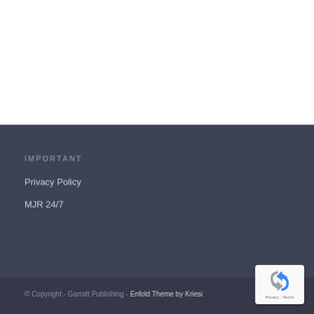IMPORTANT
Privacy Policy
MJR 24/7
© Copyright - Garratt Publishing - Enfold Theme by Kriesi
[Figure (logo): Google reCAPTCHA badge with logo and Privacy/Terms links]